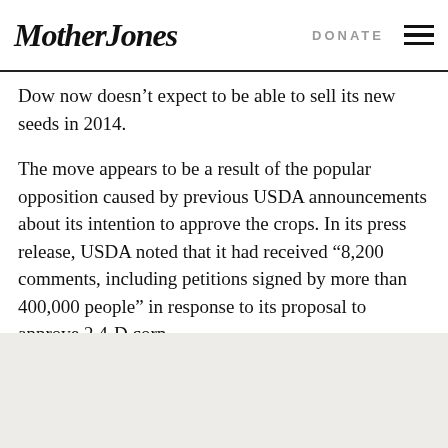Mother Jones  DONATE
Dow now doesn’t expect to be able to sell its new seeds in 2014.
The move appears to be a result of the popular opposition caused by previous USDA announcements about its intention to approve the crops. In its press release, USDA noted that it had received “8,200 comments, including petitions signed by more than 400,000 people” in response to its proposal to approve 2,4-D corn.